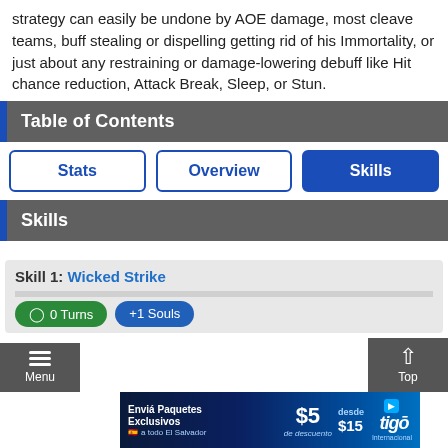strategy can easily be undone by AOE damage, most cleave teams, buff stealing or dispelling getting rid of his Immortality, or just about any restraining or damage-lowering debuff like Hit chance reduction, Attack Break, Sleep, or Stun.
Table of Contents
Stats | Overview | Skills
Skills
Skill 1: Wicked Strike
0 Turns   +1 Souls
[Figure (screenshot): Tigo advertisement banner: Enviá Paquetes Exclusivos $5 de descuento desde $15, tigo logo]